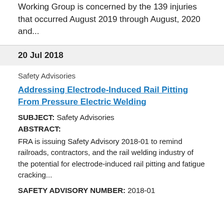Working Group is concerned by the 139 injuries that occurred August 2019 through August, 2020 and...
20 Jul 2018
Safety Advisories
Addressing Electrode-Induced Rail Pitting From Pressure Electric Welding
SUBJECT: Safety Advisories
ABSTRACT:
FRA is issuing Safety Advisory 2018-01 to remind railroads, contractors, and the rail welding industry of the potential for electrode-induced rail pitting and fatigue cracking...
SAFETY ADVISORY NUMBER: 2018-01